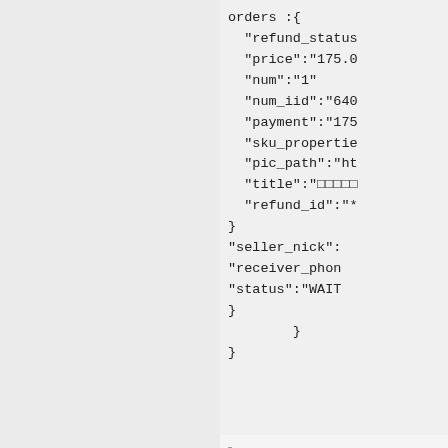orders :{
  "refund_status"
  "price":"175.0
  "num":"1"
  "num_iid":"640
  "payment":"175
  "sku_propertie
  "pic_path":"ht
  "title":"□□□□□
  "refund_id":"*
}
"seller_nick":
"receiver_phon
"status":"WAIT
}
    }
}
□□□□